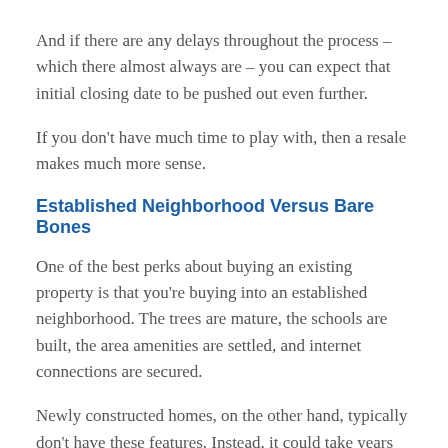And if there are any delays throughout the process – which there almost always are – you can expect that initial closing date to be pushed out even further.
If you don't have much time to play with, then a resale makes much more sense.
Established Neighborhood Versus Bare Bones
One of the best perks about buying an existing property is that you're buying into an established neighborhood. The trees are mature, the schools are built, the area amenities are settled, and internet connections are secured.
Newly constructed homes, on the other hand, typically don't have these features. Instead, it could take years before any of these amenities are available. In the meantime, you'll have to put up with a lot of dust, plenty of noise, broken cell